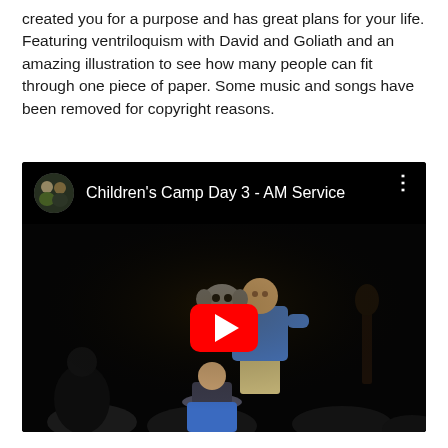created you for a purpose and has great plans for your life. Featuring ventriloquism with David and Goliath and an amazing illustration to see how many people can fit through one piece of paper. Some music and songs have been removed for copyright reasons.
[Figure (screenshot): YouTube video embed showing 'Children's Camp Day 3 - AM Service' with a channel avatar thumbnail of two people, a red YouTube play button in the center, and a scene of a performer with a puppet on a dark stage with audience members visible.]